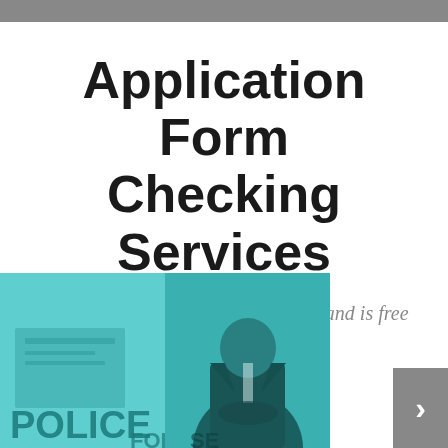Application Form Checking Services
Ensure your application stands out and is free from the costly errors
[Figure (photo): Composite teal-tinted image showing a police application form document on the left and a man in a suit with hands clasped on the right]